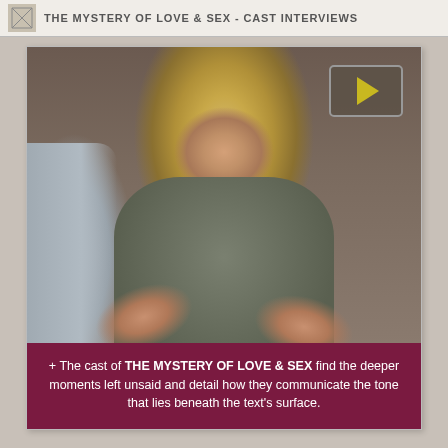THE MYSTERY OF LOVE & SEX - CAST INTERVIEWS
[Figure (photo): A woman with blonde hair seated on a grey sofa, gesturing with both hands while speaking, with a video play button overlay in the top right corner.]
+ The cast of THE MYSTERY OF LOVE & SEX find the deeper moments left unsaid and detail how they communicate the tone that lies beneath the text's surface.